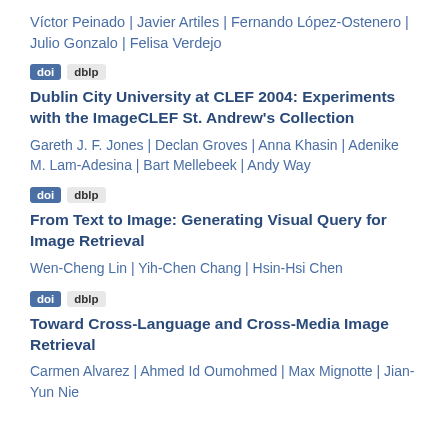Víctor Peinado | Javier Artiles | Fernando López-Ostenero | Julio Gonzalo | Felisa Verdejo
doi  dblp
Dublin City University at CLEF 2004: Experiments with the ImageCLEF St. Andrew's Collection
Gareth J. F. Jones | Declan Groves | Anna Khasin | Adenike M. Lam-Adesina | Bart Mellebeek | Andy Way
doi  dblp
From Text to Image: Generating Visual Query for Image Retrieval
Wen-Cheng Lin | Yih-Chen Chang | Hsin-Hsi Chen
doi  dblp
Toward Cross-Language and Cross-Media Image Retrieval
Carmen Alvarez | Ahmed Id Oumohmed | Max Mignotte | Jian-Yun Nie